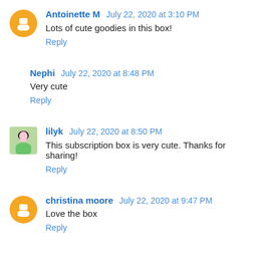Antoinette M  July 22, 2020 at 3:10 PM
Lots of cute goodies in this box!
Reply
Nephi  July 22, 2020 at 8:48 PM
Very cute
Reply
lilyk  July 22, 2020 at 8:50 PM
This subscription box is very cute. Thanks for sharing!
Reply
christina moore  July 22, 2020 at 9:47 PM
Love the box
Reply